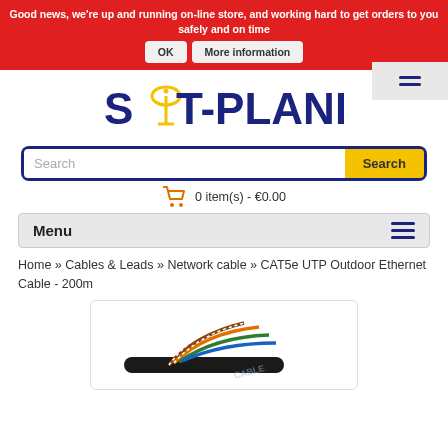Good news, we're up and running on-line store, and working hard to get orders to you safely and on time
[Figure (logo): SAT-PLANET logo with satellite dish icon replacing the A]
[Figure (screenshot): Search bar with Search button]
0 item(s) - €0.00
Menu
Home » Cables & Leads » Network cable » CAT5e UTP Outdoor Ethernet Cable - 200m
[Figure (photo): CAT5e UTP Outdoor Ethernet Cable showing twisted pairs]